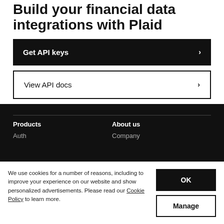Build your financial data integrations with Plaid
Get API keys
View API docs
Products
About us
Auth
Company
We use cookies for a number of reasons, including to improve your experience on our website and show personalized advertisements. Please read our Cookie Policy to learn more.
OK
Manage